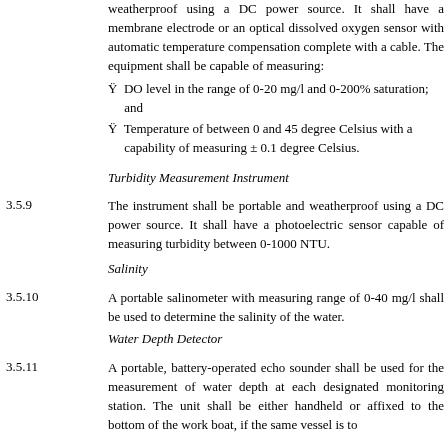weatherproof using a DC power source. It shall have a membrane electrode or an optical dissolved oxygen sensor with automatic temperature compensation complete with a cable. The equipment shall be capable of measuring:
Ÿ  DO level in the range of 0-20 mg/l and 0-200% saturation; and
Ÿ  Temperature of between 0 and 45 degree Celsius with a capability of measuring ± 0.1 degree Celsius.
Turbidity Measurement Instrument
3.5.9    The instrument shall be portable and weatherproof using a DC power source. It shall have a photoelectric sensor capable of measuring turbidity between 0-1000 NTU.
Salinity
3.5.10    A portable salinometer with measuring range of 0-40 mg/l shall be used to determine the salinity of the water.
Water Depth Detector
3.5.11    A portable, battery-operated echo sounder shall be used for the measurement of water depth at each designated monitoring station. The unit shall be either handheld or affixed to the bottom of the work boat, if the same vessel is to